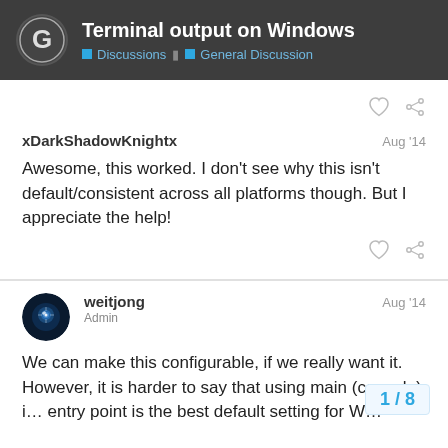Terminal output on Windows | Discussions | General Discussion
xDarkShadowKnightx   Aug '14
Awesome, this worked. I don't see why this isn't default/consistent across all platforms though. But I appreciate the help!
weitjong   Aug '14
Admin
We can make this configurable, if we really want it. However, it is harder to say that using main (console) i… entry point is the best default setting for W…
1 / 8